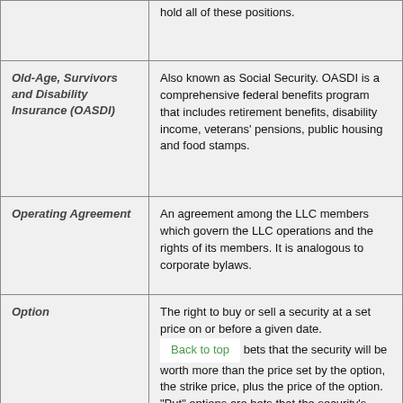| Term | Definition |
| --- | --- |
|  | hold all of these positions. |
| Old-Age, Survivors and Disability Insurance (OASDI) | Also known as Social Security. OASDI is a comprehensive federal benefits program that includes retirement benefits, disability income, veterans' pensions, public housing and food stamps. |
| Operating Agreement | An agreement among the LLC members which govern the LLC operations and the rights of its members. It is analogous to corporate bylaws. |
| Option | The right to buy or sell a security at a set price on or before a given date. [Back to top] bets that the security will be worth more than the price set by the option, the strike price, plus the price of the option. "Put" options are bets that the security's price will fall below the price set by the option. |
|  |  |